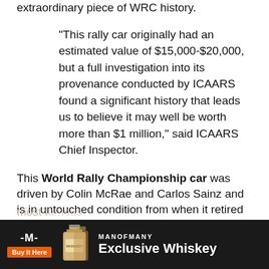extraordinary piece of WRC history.
“This rally car originally had an estimated value of $15,000-$20,000, but a full investigation into its provenance conducted by ICAARS found a significant history that leads us to believe it may well be worth more than $1 million,” said ICAARS Chief Inspector.
This World Rally Championship car was driven by Colin McRae and Carlos Sainz and is in untouched condition from when it retired in 1996. Commissioned in December 93 as the first 555 1994 season car for Carlos Sainz to start with Subaru and the first to wear the famous L555REP number plates to celebrate the Repsol sponsorship with Subaru and Carlos. One of the most f[...] ainz took p[...] from
[Figure (infographic): MANOFMANY advertisement banner with logo, whiskey bottles, 'Buy It Here' orange button, and 'Exclusive Whiskey' headline on dark background]